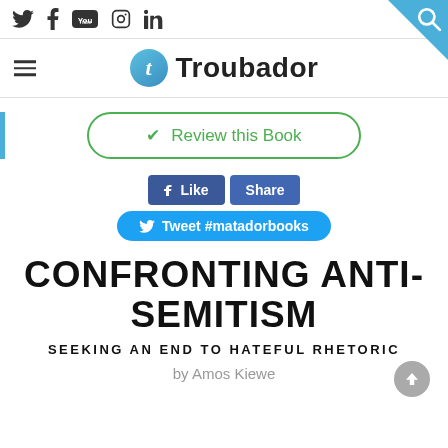Social media icons: Twitter, Facebook, YouTube, Instagram, LinkedIn; Search icon
[Figure (logo): Troubador publishing logo with stylized italic 't' in blue circle]
✓ Review this Book
[Figure (screenshot): Facebook Like and Share buttons, and Tweet #matadorbooks button]
CONFRONTING ANTI-SEMITISM
SEEKING AN END TO HATEFUL RHETORIC
by Amos Kiewe